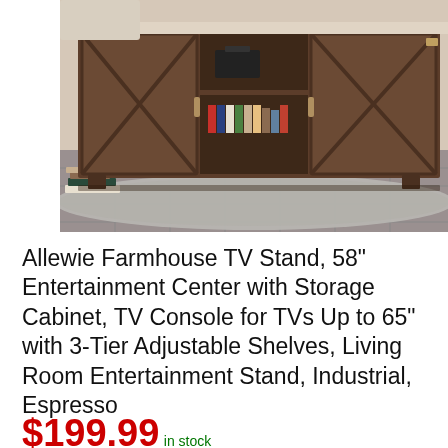[Figure (photo): Dark espresso brown farmhouse TV stand with barn-door style cabinet panels featuring X-cross detailing, open center shelving with electronics and books visible, displayed on a tiled floor with a woven rug]
Allewie Farmhouse TV Stand, 58" Entertainment Center with Storage Cabinet, TV Console for TVs Up to 65" with 3-Tier Adjustable Shelves, Living Room Entertainment Stand, Industrial, Espresso
$199.99   in stock